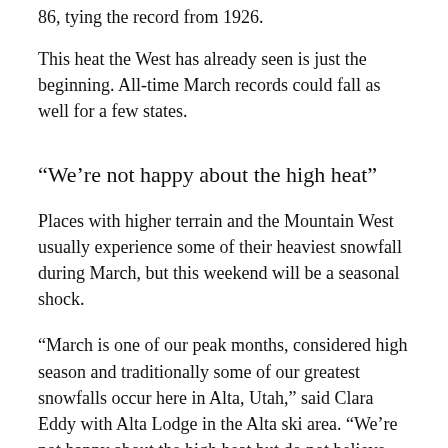86, tying the record from 1926.
This heat the West has already seen is just the beginning. All-time March records could fall as well for a few states.
“We’re not happy about the high heat”
Places with higher terrain and the Mountain West usually experience some of their heaviest snowfall during March, but this weekend will be a seasonal shock.
“March is one of our peak months, considered high season and traditionally some of our greatest snowfalls occur here in Alta, Utah,” said Clara Eddy with Alta Lodge in the Alta ski area. “We’re not happy about the high heat but do not believe it’ll keeps folks from coming. It’ll be a bit icy but northern slopes should fare better.”